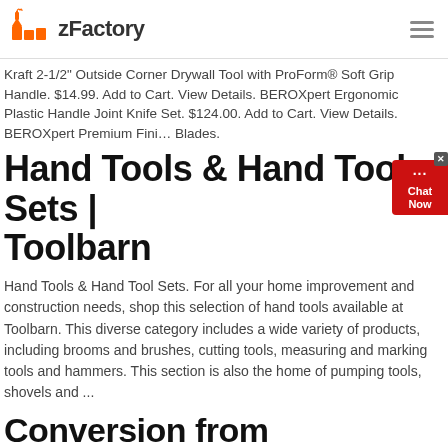zFactory
Kraft 2-1/2" Outside Corner Drywall Tool with ProForm® Soft Grip Handle. $14.99. Add to Cart. View Details. BEROXpert Ergonomic Plastic Handle Joint Knife Set. $124.00. Add to Cart. View Details. BEROXpert Premium Finishing Blades.
Hand Tools & Hand Tool Sets | Toolbarn
Hand Tools & Hand Tool Sets. For all your home improvement and construction needs, shop this selection of hand tools available at Toolbarn. This diverse category includes a wide variety of products, including brooms and brushes, cutting tools, measuring and marking tools and hammers. This section is also the home of pumping tools, shovels and ...
Conversion from Traditional Hand Finishing to Automatic